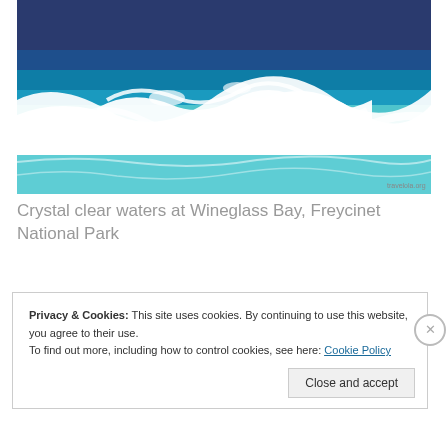[Figure (photo): Ocean waves with white foam crashing, crystal clear blue-green water with dark blue water in the background. Watermark reads travelola.org.]
Crystal clear waters at Wineglass Bay, Freycinet National Park
Privacy & Cookies: This site uses cookies. By continuing to use this website, you agree to their use.
To find out more, including how to control cookies, see here: Cookie Policy
Close and accept